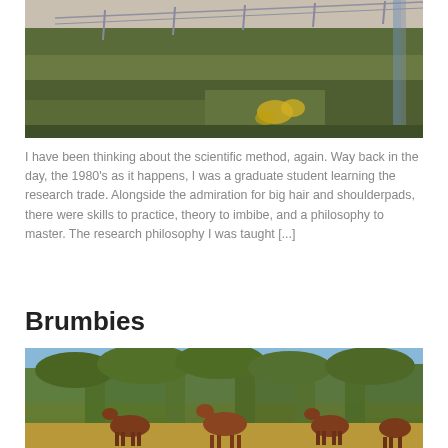[Figure (photo): A grassy hillside with a fence at the top and yellow wildflowers in the foreground, partially visible (cropped at top).]
I have been thinking about the scientific method, again. Way back in the day, the 1980's as it happens, I was a graduate student learning the research trade. Alongside the admiration for big hair and shoulderpads, there were skills to practice, theory to imbibe, and a philosophy to master. The research philosophy I was taught [...]
Brumbies
[Figure (photo): A field with several brown horses running or standing, with a line of eucalyptus trees behind them under a blue sky.]